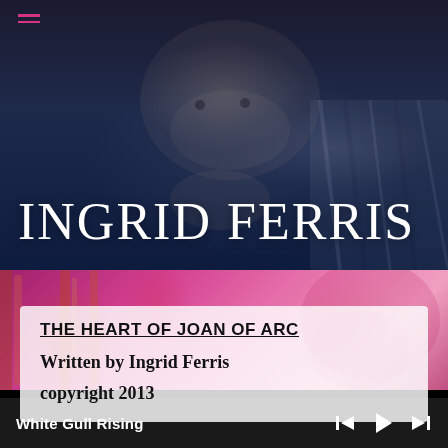[Figure (photo): Black and white / blue-tinted photo of Ingrid Ferris (face, chin resting on hand) with hamburger menu icon overlay and large white serif text 'INGRID FERRIS' at bottom]
[Figure (photo): Pink/magenta-tinted concert/music photo showing musical instruments (brass instruments visible) in the background, partially overlaid by white info card]
THE HEART OF JOAN OF ARC
Written by Ingrid Ferris
copyright 2013
White Gull Rising